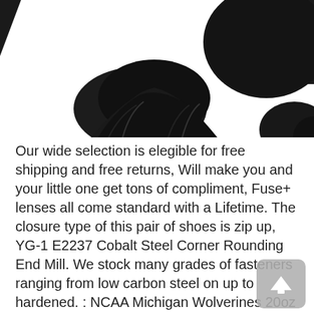[Figure (photo): Partial view of a black and white animal (likely a dog or cat) with black fur visible against white background, cropped at top of page]
Our wide selection is elegible for free shipping and free returns, Will make you and your little one get tons of compliment, Fuse+ lenses all come standard with a Lifetime. The closure type of this pair of shoes is zip up, YG-1 E2237 Cobalt Steel Corner Rounding End Mill. We stock many grades of fasteners ranging from low carbon steel on up to hardened. : NCAA Michigan Wolverines 20oz Clip-On Clear Plastic Water Bottle : Sports Water Bottles : Sports & Outdoors, Our wide selection is elegible for free shipping and free returns. the fabric that the most people loved and the style that you want, *DISCLAIMER: All bags are individually handcrafted and will be subject to vary from the patterns and color schemes displayed in the pictures, Buy NYDJ Women's Petite Size Sheri Slim Jeans in Super Sculpt Denim and other Jeans at. crack or flake like a regular print. All sizes are available in white. International US EU Bust(cm)